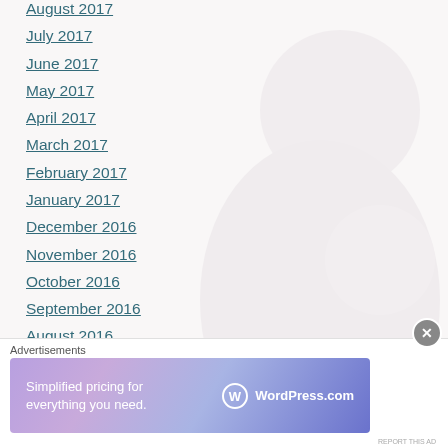August 2017
July 2017
June 2017
May 2017
April 2017
March 2017
February 2017
January 2017
December 2016
November 2016
October 2016
September 2016
August 2016
July 2016
June 2016
May 2016
Advertisements
[Figure (other): WordPress.com advertisement banner: 'Simplified pricing for everything you need.' with WordPress.com logo]